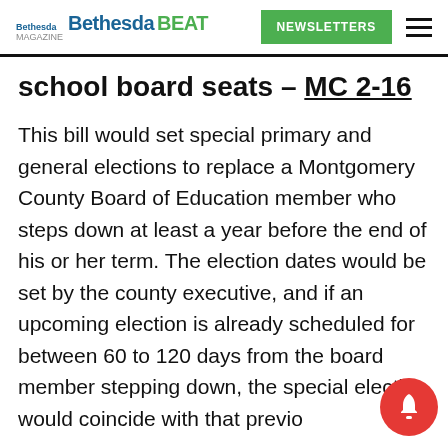Bethesda Bethesda BEAT | NEWSLETTERS
school board seats – MC 2-16
This bill would set special primary and general elections to replace a Montgomery County Board of Education member who steps down at least a year before the end of his or her term. The election dates would be set by the county executive, and if an upcoming election is already scheduled for between 60 to 120 days from the board member stepping down, the special election would coincide with that previously scheduled election. Under current